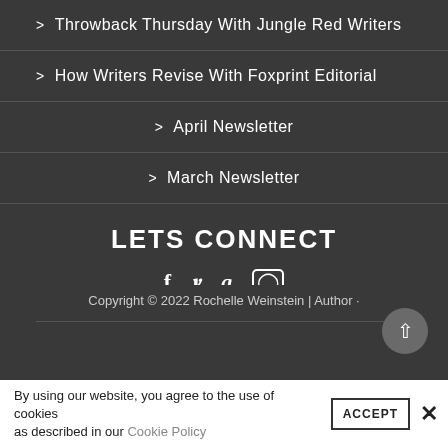> Throwback Thursday With Jungle Red Writers
> How Writers Revise With Foxprint Editorial
> April Newsletter
> March Newsletter
LETS CONNECT
[Figure (other): Social media icons: Facebook, Twitter, Goodreads, Instagram]
Copyright © 2022 Rochelle Weinstein | Author ·
By using our website, you agree to the use of cookies as described in our Cookie Policy ACCEPT ✕